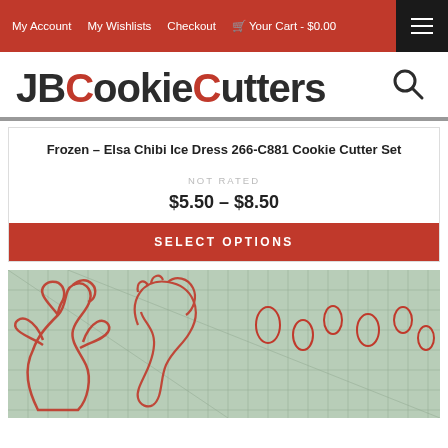My Account  My Wishlists  Checkout  Your Cart - $0.00
[Figure (logo): JBCookieCutters logo with search icon]
Frozen – Elsa Chibi Ice Dress 266-C881 Cookie Cutter Set
NOT RATED
$5.50 – $8.50
SELECT OPTIONS
[Figure (photo): Photo of red cookie cutters shaped like Frozen Elsa Chibi characters laid on a grid mat]